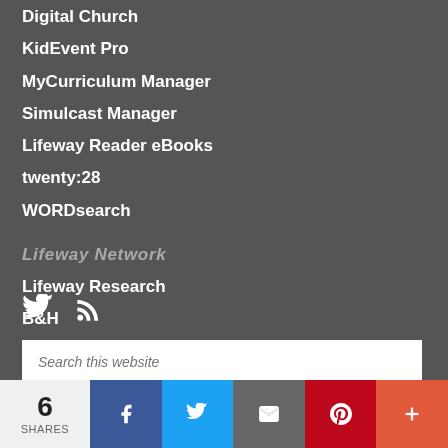Digital Church
KidEvent Pro
MyCurriculum Manager
Simulcast Manager
Lifeway Reader eBooks
twenty:28
WORDsearch
Lifeway Network
Lifeway Research
B&H
[Figure (other): Social media icons: Twitter bird and RSS feed icon]
Search this website
[Figure (infographic): Share bar with 6 SHARES count, Facebook, Twitter, Email, Pinterest, and More buttons]